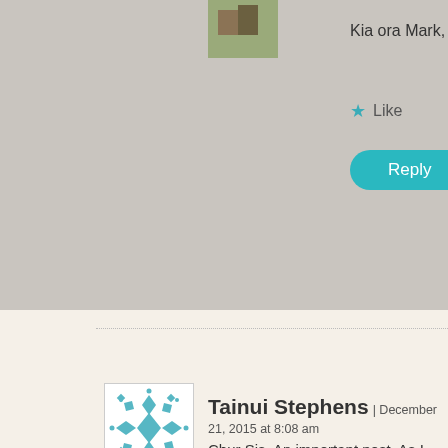Kia ora Mark, I always appreciate your feedb
Like
Reply
Tainui Stephens | December 21, 2015 at 8:08 am
Chur Sis. An important post. As I watched the do she let go. Emotionally and physically she put her under control. That's one essence of haka to me. an adept, it was nothing like many haka 'on the e it may a drunken mob fart, or a brainless lampoo worried about her or her performance. I felt her a she clearly had some expert guidance at some po extending herself. Chur to that. And I think 'sham but here we encounter yet again the defficiencie Maorispeak. To me, whakama is also an imperativ perception of the people for right or wrong is a